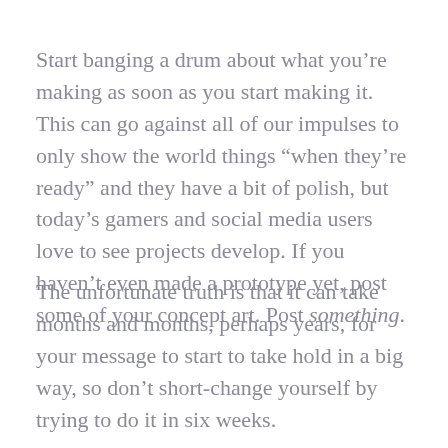Start banging a drum about what you're making as soon as you start making it. This can go against all of our impulses to only show the world things “when they're ready” and they have a bit of polish, but today’s gamers and social media users love to see projects develop. If you haven’t even made a prototype yet, post some of your concept art. Post something.
The unfortunate truth is that it can take months and months, perhaps years, for your message to start to take hold in a big way, so don’t short-change yourself by trying to do it in six weeks.